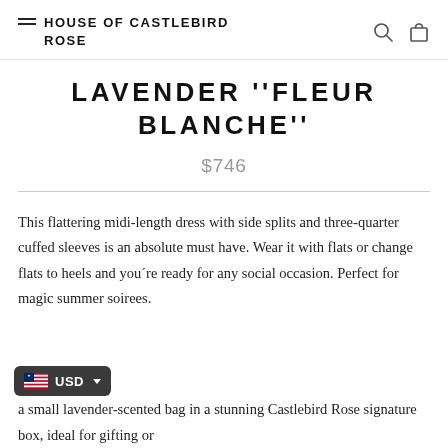HOUSE OF CASTLEBIRD ROSE
LAVENDER ''FLEUR BLANCHE''
$746
This flattering midi-length dress with side splits and three-quarter cuffed sleeves is an absolute must have. Wear it with flats or change flats to heels and you´re ready for any social occasion. Perfect for magic summer soirees.
a small lavender-scented bag in a stunning Castlebird Rose signature box, ideal for gifting or